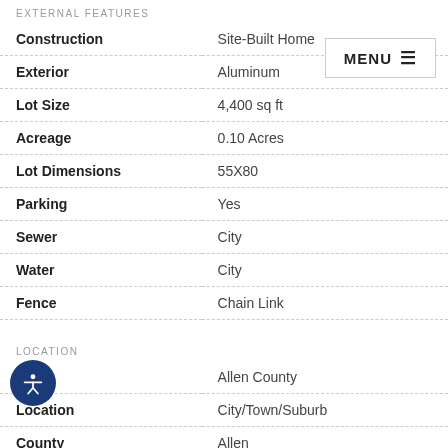EXTERNAL FEATURES
| Feature | Value |
| --- | --- |
| Construction | Site-Built Home |
| Exterior | Aluminum |
| Lot Size | 4,400 sq ft |
| Acreage | 0.10 Acres |
| Lot Dimensions | 55X80 |
| Parking | Yes |
| Sewer | City |
| Water | City |
| Fence | Chain Link |
LOCATION
| Feature | Value |
| --- | --- |
| Area | Allen County |
| Location | City/Town/Suburb |
| County | Allen |
| Subdivision | Boerger(s) |
| Township | Wayne |